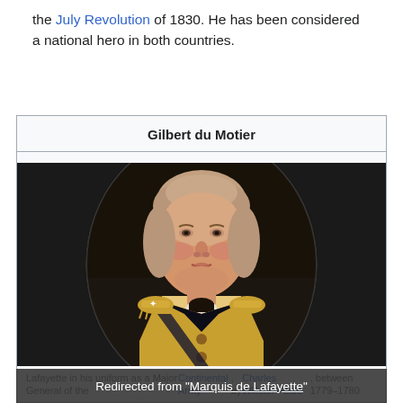the July Revolution of 1830. He has been considered a national hero in both countries.
[Figure (photo): Infobox titled 'Gilbert du Motier' containing an oval portrait painting of Lafayette in a Continental Army uniform, by Charles Willson Peale, between 1779–1780. A tooltip overlay reads: Redirected from 'Marquis de Lafayette'.]
Lafayette in his uniform as a Major General of the Continental Army, by Charles Willson Peale, between 1779–1780